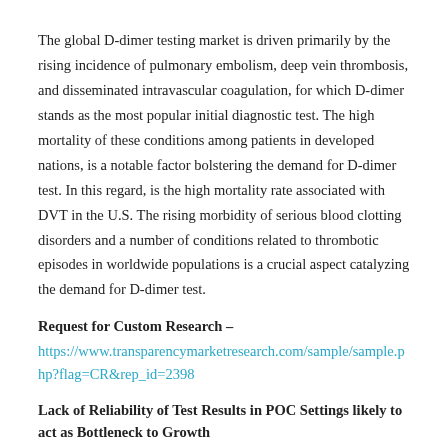The global D-dimer testing market is driven primarily by the rising incidence of pulmonary embolism, deep vein thrombosis, and disseminated intravascular coagulation, for which D-dimer stands as the most popular initial diagnostic test. The high mortality of these conditions among patients in developed nations, is a notable factor bolstering the demand for D-dimer test. In this regard, is the high mortality rate associated with DVT in the U.S. The rising morbidity of serious blood clotting disorders and a number of conditions related to thrombotic episodes in worldwide populations is a crucial aspect catalyzing the demand for D-dimer test.
Request for Custom Research –
https://www.transparencymarketresearch.com/sample/sample.php?flag=CR&rep_id=2398
Lack of Reliability of Test Results in POC Settings likely to act as Bottleneck to Growth
The substantial number of D-dimer tests in lab settings, particularly in